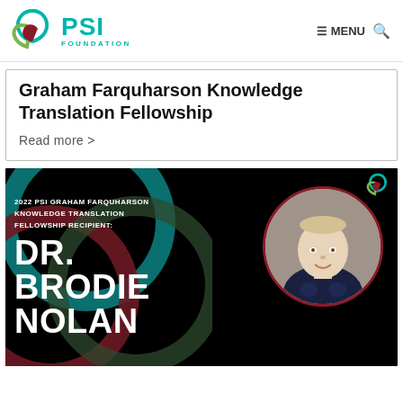PSI Foundation — MENU
Graham Farquharson Knowledge Translation Fellowship
Read more >
[Figure (photo): Dark background banner image for the 2022 PSI Graham Farquharson Knowledge Translation Fellowship, showing text '2022 PSI GRAHAM FARQUHARSON KNOWLEDGE TRANSLATION FELLOWSHIP RECIPIENT: DR. BRODIE NOLAN' with overlapping teal and dark red ring graphics on the left, and a circular headshot photo of Dr. Brodie Nolan on the right.]